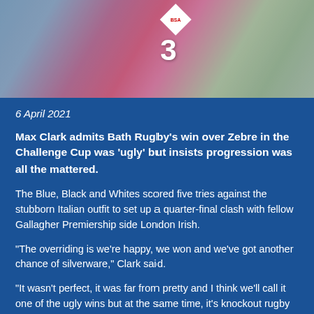[Figure (photo): Rugby players in action, one wearing a pink jersey with BSA logo and number 3]
6 April 2021
Max Clark admits Bath Rugby's win over Zebre in the Challenge Cup was 'ugly' but insists progression was all the mattered.
The Blue, Black and Whites scored five tries against the stubborn Italian outfit to set up a quarter-final clash with fellow Gallagher Premiership side London Irish.
“The overriding is we’re happy, we won and we’ve got another chance of silverware,” Clark said.
“It wasn’t perfect, it was far from pretty and I think we’ll call it one of the ugly wins but at the same time, it’s knockout rugby and we’re on to the next stage which is the main thing.